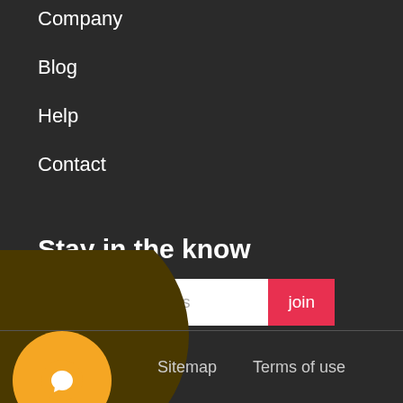Company
Blog
Help
Contact
Stay in the know
Your email address    join
[Figure (illustration): Dark brown circle partially visible at bottom left, with orange circle containing a speech bubble icon overlapping it]
Sitemap    Terms of use